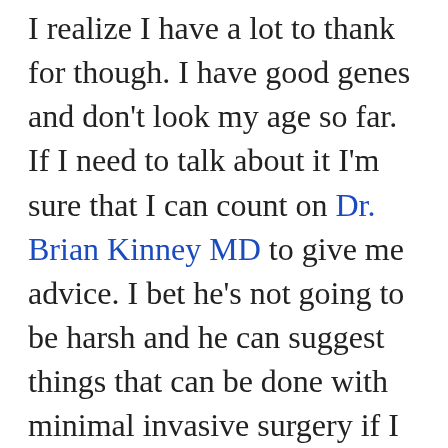I realize I have a lot to thank for though. I have good genes and don't look my age so far. If I need to talk about it I'm sure that I can count on Dr. Brian Kinney MD to give me advice. I bet he's not going to be harsh and he can suggest things that can be done with minimal invasive surgery if I need one. Liposuction would never be too far away. Everyone has done it anyway so why shouldn't I take care of